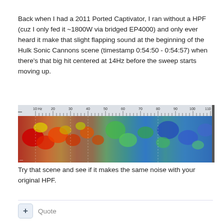Back when I had a 2011 Ported Captivator, I ran without a HPF (cuz I only fed it ~1800W via bridged EP4000) and only ever heard it make that slight flapping sound at the beginning of the Hulk Sonic Cannons scene (timestamp 0:54:50 - 0:54:57) when there's that big hit centered at 14Hz before the sweep starts moving up.
[Figure (continuous-plot): Spectrogram / frequency analysis chart showing frequency vs time. X-axis labeled from 10 Hz to 110 Hz with tick marks. Color heatmap shows intensity from blue (low) through green, yellow, orange, red (high). Strong red/orange energy visible in the 10-40 Hz range on the left side, transitioning to more green/blue in higher frequencies.]
Try that scene and see if it makes the same noise with your original HPF.
Quote